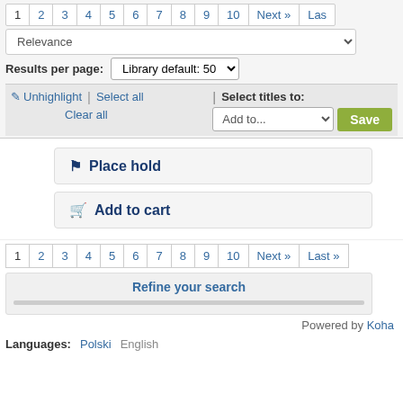Pagination: 1 2 3 4 5 6 7 8 9 10 Next » Las
Relevance (sort dropdown)
Results per page: Library default: 50
✎ Unhighlight | Select all | Select titles to: Add to... Save
Clear all
🔖 Place hold
🛒 Add to cart
Pagination: 1 2 3 4 5 6 7 8 9 10 Next » Last »
Refine your search
Powered by Koha
Languages: Polski   English